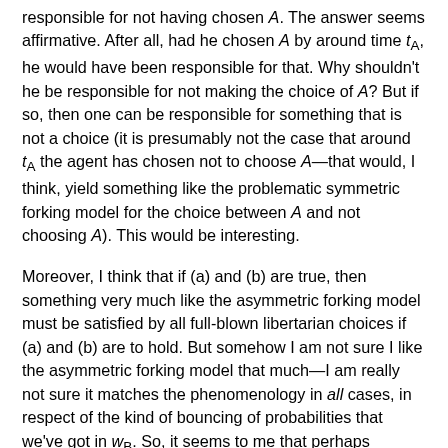responsible for not having chosen A. The answer seems affirmative. After all, had he chosen A by around time t_A, he would have been responsible for that. Why shouldn't he be responsible for not making the choice of A? But if so, then one can be responsible for something that is not a choice (it is presumably not the case that around t_A the agent has chosen not to choose A—that would, I think, yield something like the problematic symmetric forking model for the choice between A and not choosing A). This would be interesting.
Moreover, I think that if (a) and (b) are true, then something very much like the asymmetric forking model must be satisfied by all full-blown libertarian choices if (a) and (b) are to hold. But somehow I am not sure I like the asymmetric forking model that much—I am really not sure it matches the phenomenology in all cases, in respect of the kind of bouncing of probabilities that we've got in w_B. So, it seems to me that perhaps sometimes either something like the symmetric forking model holds or at least sometimes the asymmetric model holds but without anything like (5). If so, this is an argument against the conjunction of (a) and (b), and plausibly evidence against (a), the claim that we must...